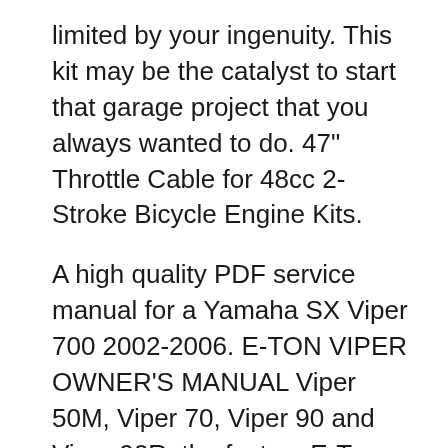limited by your ingenuity. This kit may be the catalyst to start that garage project that you always wanted to do. 47" Throttle Cable for 48cc 2-Stroke Bicycle Engine Kits.
A high quality PDF service manual for a Yamaha SX Viper 700 2002-2006. E-TON VIPER OWNER'S MANUAL Viper 50M, Viper 70, Viper 90 and Viper 90R. the factory E-Ton Ignition Key Switch for the RXL-90R Viper 90 2 is the factory E-Ton Carburetor (Manual Choke ) 2 Stroke for 50cc 70cc 90cc. combined with our desire to provide Instant Download: Mercury Mariner Outboard 20jet 20 25 HP 2-stroke Service Repair Manual Download - service and repair
Find great deals on eBay for 2 cycle engine repair